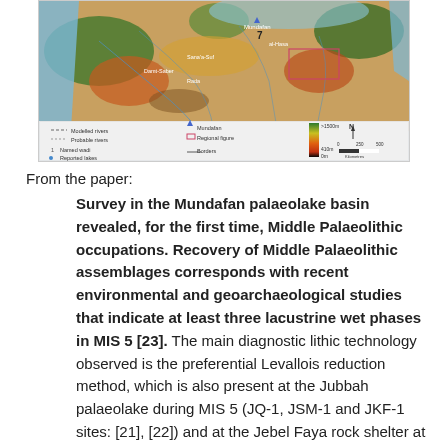[Figure (map): Topographic/relief map showing the Arabian Peninsula region with rivers, lakes, modeled rivers, probable rivers, named wadis, reported lakes, Mundafan location marker, regional figure box, borders, elevation legend (>1500m, color scale), and scale bar. Legend items visible at bottom of map.]
From the paper:
Survey in the Mundafan palaeolake basin revealed, for the first time, Middle Palaeolithic occupations. Recovery of Middle Palaeolithic assemblages corresponds with recent environmental and geoarchaeological studies that indicate at least three lacustrine wet phases in MIS 5 [23]. The main diagnostic lithic technology observed is the preferential Levallois reduction method, which is also present at the Jubbah palaeolake during MIS 5 (JQ-1, JSM-1 and JKF-1 sites: [21], [22]) and at the Jebel Faya rock shelter at the transition between MIS 6–5e (Assemblage C: [6]). This technology is absent in MIS 3 in southwest Yemen (SD1, SD2 and AS1